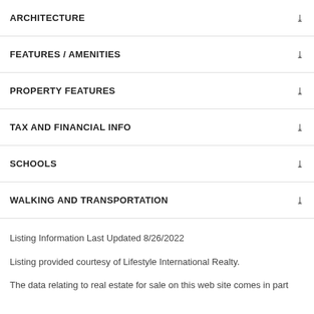ARCHITECTURE
FEATURES / AMENITIES
PROPERTY FEATURES
TAX AND FINANCIAL INFO
SCHOOLS
WALKING AND TRANSPORTATION
Listing Information Last Updated 8/26/2022
Listing provided courtesy of Lifestyle International Realty.
The data relating to real estate for sale on this web site comes in part